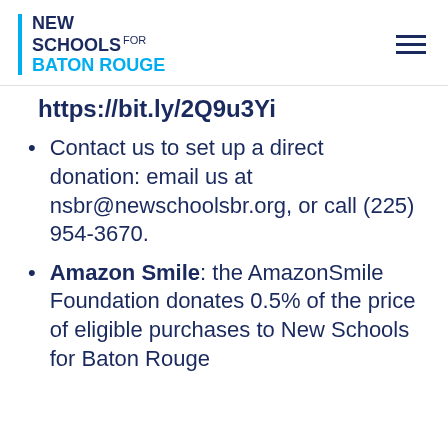[Figure (logo): New Schools for Baton Rouge logo with cyan vertical bar accent]
https://bit.ly/2Q9u3Yi
Contact us to set up a direct donation: email us at nsbr@newschoolsbr.org, or call (225) 954-3670.
Amazon Smile: the AmazonSmile Foundation donates 0.5% of the price of eligible purchases to New Schools for Baton Rouge.